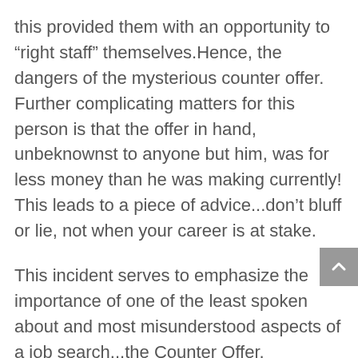this provided them with an opportunity to “right staff” themselves.Hence, the dangers of the mysterious counter offer. Further complicating matters for this person is that the offer in hand, unbeknownst to anyone but him, was for less money than he was making currently! This leads to a piece of advice...don’t bluff or lie, not when your career is at stake.
This incident serves to emphasize the importance of one of the least spoken about and most misunderstood aspects of a job search...the Counter Offer.
In order for the Counter Offer to come into